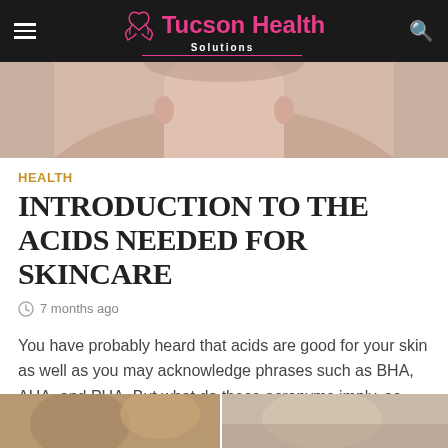Tucson Health Solutions
[Figure (photo): Partial photo of a person's neck/shoulder area, cropped hero banner image]
HEALTH
INTRODUCTION TO THE ACIDS NEEDED FOR SKINCARE
7 months ago
You have probably heard that acids are good for your skin as well as you may acknowledge phrases such as BHA, AHA, and PHA. But what do these acronyms imply, as well as...
READ MORE
[Figure (photo): Two partial thumbnail images at the bottom of the page]